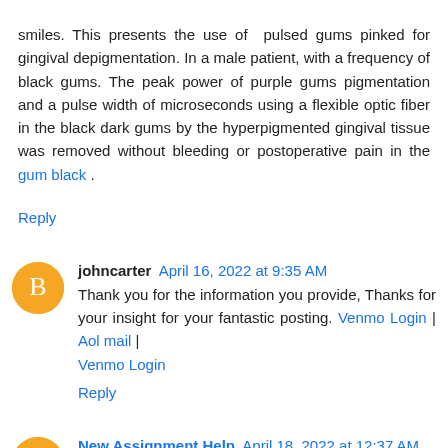smiles. This presents the use of pulsed gums pinked for gingival depigmentation. In a male patient, with a frequency of black gums. The peak power of purple gums pigmentation and a pulse width of microseconds using a flexible optic fiber in the black dark gums by the hyperpigmented gingival tissue was removed without bleeding or postoperative pain in the gum black .
Reply
johncarter April 16, 2022 at 9:35 AM
Thank you for the information you provide, Thanks for your insight for your fantastic posting. Venmo Login | Aol mail | Venmo Login
Reply
New Assignment Help April 18, 2022 at 12:37 AM
We provide high quality Accounting Assignment Help that meets your requirements and your deadlines .Customer happiness is our primary goal; thus, we hire the greatest